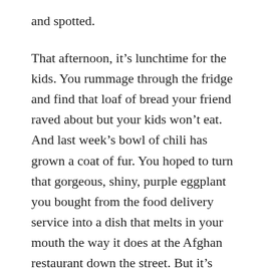and spotted.
That afternoon, it’s lunchtime for the kids. You rummage through the fridge and find that loaf of bread your friend raved about but your kids won’t eat. And last week’s bowl of chili has grown a coat of fur. You hoped to turn that gorgeous, shiny, purple eggplant you bought from the food delivery service into a dish that melts in your mouth the way it does at the Afghan restaurant down the street. But it’s sunken and liquified, and your